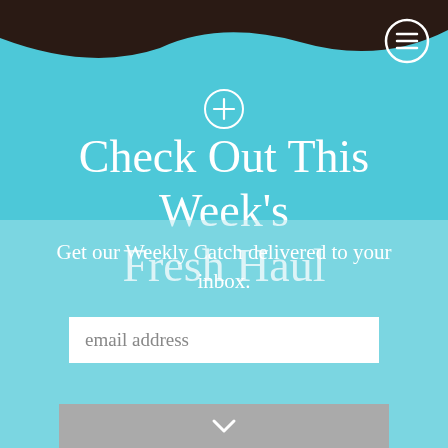[Figure (illustration): Dark brown wavy shape at the top of the page forming a decorative header band]
[Figure (illustration): Circular menu icon (hamburger/three lines) in white outline on top right]
[Figure (illustration): Circled plus (+) icon in white, centered near the top of the teal area]
Check Out This Week's Fresh Haul
Get our Weekly Catch delivered to your inbox.
email address